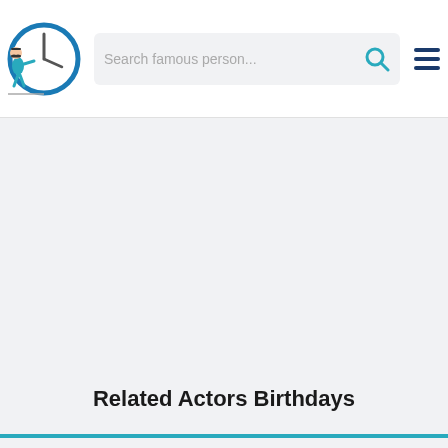Search famous person...
[Figure (illustration): Website logo: a cartoon figure pushing a large clock, with the site name implied]
Related Actors Birthdays